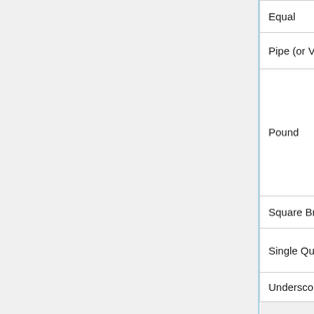| Name | Symbol | Description |
| --- | --- | --- |
| Equal | = | Used to create headers |
| Pipe (or Vertical Line) | | | Used to instigate alternate text |
| Pound | # | Used to create anchors, as well as numbered lists |
| Square Brackets | [ ] | Used to create links |
| Single Quotation Marks | ' | Used to modify text, such as italic ("text") or bold ("'text'") |
| Underscore | – | Used to initiate some magic |